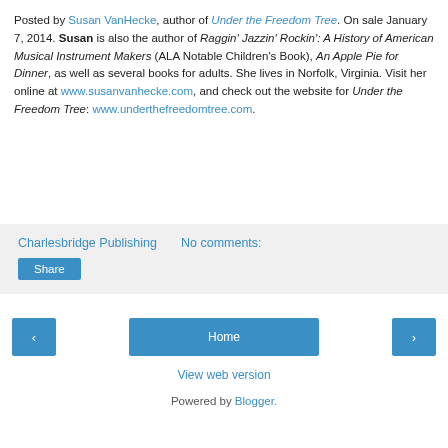Posted by Susan VanHecke, author of Under the Freedom Tree. On sale January 7, 2014. Susan is also the author of Raggin' Jazzin' Rockin': A History of American Musical Instrument Makers (ALA Notable Children's Book), An Apple Pie for Dinner, as well as several books for adults. She lives in Norfolk, Virginia. Visit her online at www.susanvanhecke.com, and check out the website for Under the Freedom Tree: www.underthefreedomtree.com.
Charlesbridge Publishing   No comments:
Share
‹  Home  ›
View web version
Powered by Blogger.